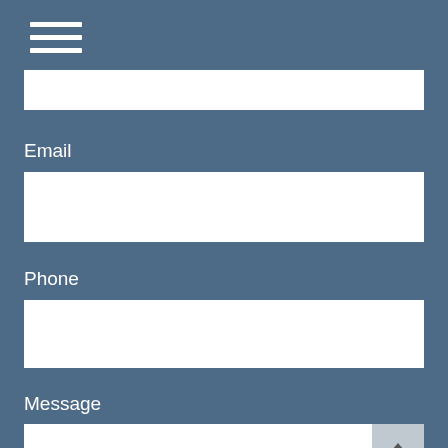[Figure (other): Hamburger menu icon with three horizontal white lines]
Email
Phone
Message